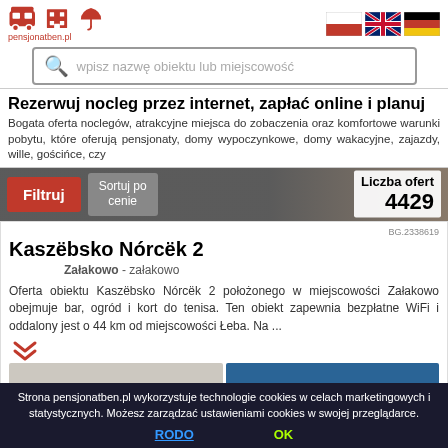pensjonatben.pl
wpisz nazwę obiektu lub miejscowość
Rezerwuj nocleg przez internet, zapłać online i planuj
Bogata oferta noclegów, atrakcyjne miejsca do zobaczenia oraz komfortowe warunki pobytu, które oferują pensjonaty, domy wypoczynkowe, domy wakacyjne, zajazdy, wille, gościńce, czy
Filtruj  Sortuj po cenie  Liczba ofert 4429
BG.2338619
Kaszëbsko Nórcëk 2
Załakowo - załakowo
Oferta obiektu Kaszëbsko Nórcëk 2 położonego w miejscowości Załakowo obejmuje bar, ogród i kort do tenisa. Ten obiekt zapewnia bezpłatne WiFi i oddalony jest o 44 km od miejscowości Łeba. Na ...
Strona pensjonatben.pl wykorzystuje technologie cookies w celach marketingowych i statystycznych. Możesz zarządzać ustawieniami cookies w swojej przeglądarce. RODO  OK